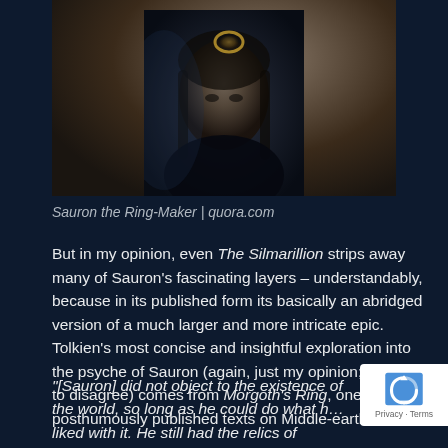[Figure (photo): Dark cinematic image of Sauron the Ring-Maker, a figure with dark hair holding or wearing a ring, against a dark background]
Sauron the Ring-Maker | quora.com
But in my opinion, even The Silmarillion strips away many of Sauron's fascinating layers – understandably, because in its published form its basically an abridged version of a much larger and more intricate epic. Tolkien's most concise and insightful exploration into the psyche of Sauron (again, just my opinion; feel free to disagree) comes from Morgoth's Ring, one of many posthumously published texts on Middle-earth:
"[Sauron] did not object to the existence of the world, so long as he could do what h... liked with it. He still had the relics of positive